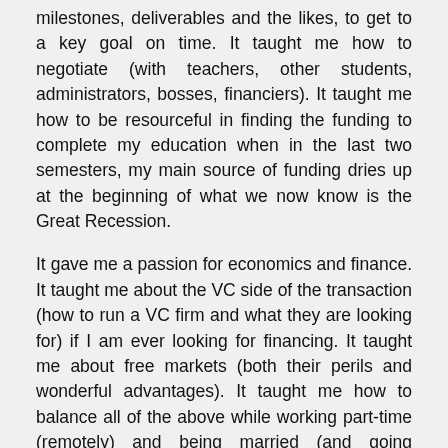milestones, deliverables and the likes, to get to a key goal on time. It taught me how to negotiate (with teachers, other students, administrators, bosses, financiers). It taught me how to be resourceful in finding the funding to complete my education when in the last two semesters, my main source of funding dries up at the beginning of what we now know is the Great Recession.
It gave me a passion for economics and finance. It taught me about the VC side of the transaction (how to run a VC firm and what they are looking for) if I am ever looking for financing. It taught me about free markets (both their perils and wonderful advantages). It taught me how to balance all of the above while working part-time (remotely) and being married (and going through a pregnancy and first year of my child's life).
All of which I am certain will help me in all ventures I pursue in the future (not just startup opportunities – but non-profit ones, will be great for a political organization too).